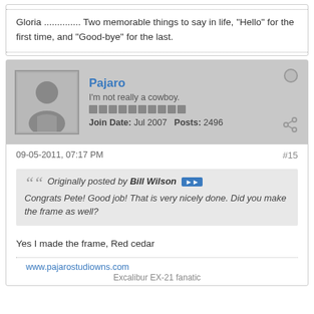Gloria .............. Two memorable things to say in life, "Hello" for the first time, and "Good-bye" for the last.
Pajaro
I'm not really a cowboy.
Join Date: Jul 2007    Posts: 2496
09-05-2011, 07:17 PM   #15
Originally posted by Bill Wilson
Congrats Pete! Good job! That is very nicely done. Did you make the frame as well?
Yes I made the frame, Red cedar
www.pajarostudiowns.com
Excalibur EX-21 fanatic